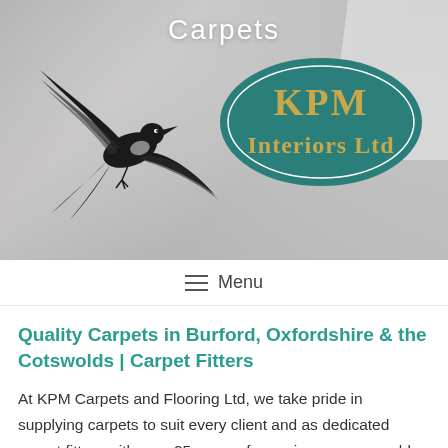[Figure (photo): Hero banner image showing a light grey carpet interior with white sneakers/shoes partially visible. A black ink swallow bird illustration overlaid on the left, and the KPM Interiors Ltd teal oval logo with gold text on the right. The word 'Carpets' appears in white text at the top center.]
Menu
Quality Carpets in Burford, Oxfordshire & the Cotswolds | Carpet Fitters
At KPM Carpets and Flooring Ltd, we take pride in supplying carpets to suit every client and as dedicated carpet fitters with over 25 years of experience, we are able to superbly fit your chosen product. Turn your house into a home with luxury carpets you can feel your feet sink into or transform your office